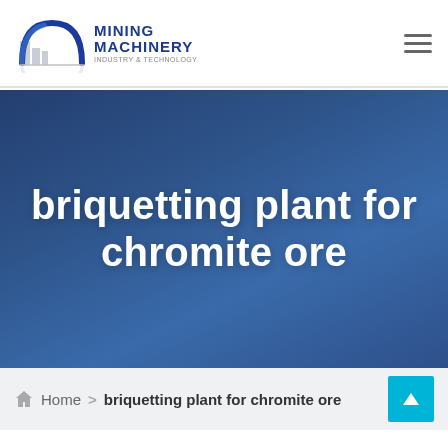[Figure (logo): Mining Machinery company logo with blue arch/building icon and bold blue text reading MINING MACHINERY]
briquetting plant for chromite ore
Home > briquetting plant for chromite ore